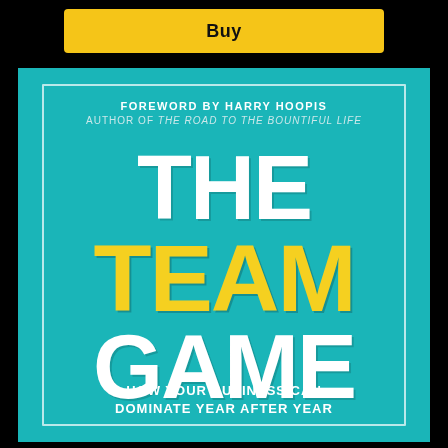Buy
[Figure (illustration): Book cover for 'The Team Game: How Your Business Can Dominate Year After Year' by an unnamed author, with foreword by Harry Hoopis, author of The Road to the Bountiful Life. Teal/turquoise background with large white and yellow text.]
FOREWORD BY HARRY HOOPIS
AUTHOR OF THE ROAD TO THE BOUNTIFUL LIFE
THE TEAM GAME
HOW YOUR BUSINESS CAN DOMINATE YEAR AFTER YEAR